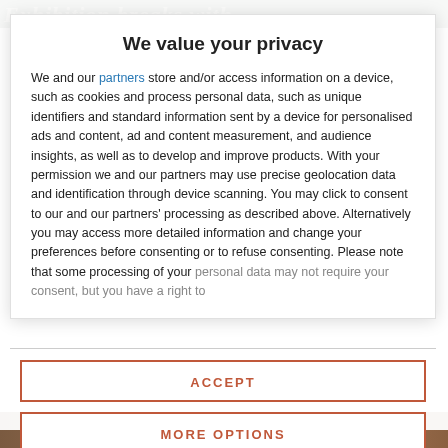[Figure (screenshot): Partially visible background page header with italic bold serif text 'Exhibition breaks with' on a dark greenish-gray background]
We value your privacy
We and our partners store and/or access information on a device, such as cookies and process personal data, such as unique identifiers and standard information sent by a device for personalised ads and content, ad and content measurement, and audience insights, as well as to develop and improve products. With your permission we and our partners may use precise geolocation data and identification through device scanning. You may click to consent to our and our partners' processing as described above. Alternatively you may access more detailed information and change your preferences before consenting or to refuse consenting. Please note that some processing of your personal data may not require your consent, but you have a right to
ACCEPT
MORE OPTIONS
[Figure (photo): Partially visible photo strip at the bottom of the page, showing warm brown and orange tones]